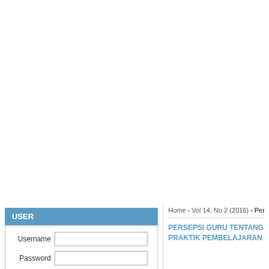[Figure (screenshot): White empty area at top of page (browser screenshot upper region)]
HOME | ABOUT | LOGIN | REGISTER | SEAR
USER
Username
Password
Home > Vol 14, No 2 (2016) > Permana
PERSEPSI GURU TENTANG PRAKTIK PEMBELAJARAN